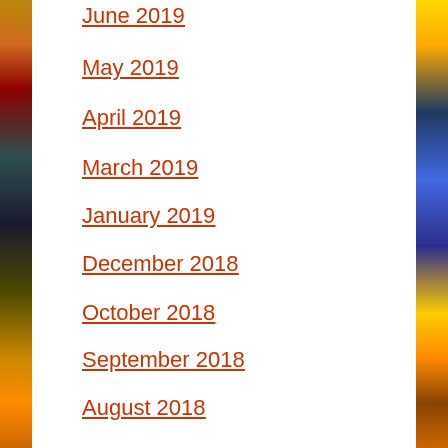June 2019
May 2019
April 2019
March 2019
January 2019
December 2018
October 2018
September 2018
August 2018
July 2018
June 2018
May 2018
April 2018
March 2018
February 2018